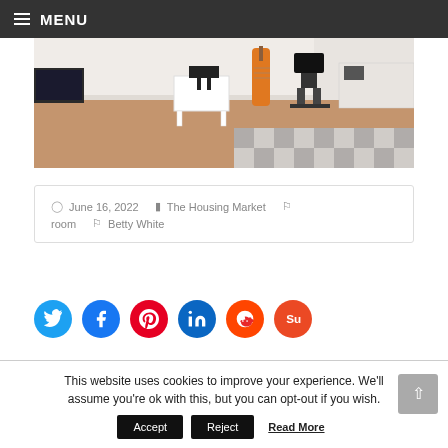MENU
[Figure (photo): Interior room photo showing a bedroom/study with wooden floor, white furniture, guitar, desk chair, and checkered bed covering]
June 16, 2022   The Housing Market   room   Betty White
[Figure (infographic): Social media share buttons: Twitter, Facebook, Pinterest, LinkedIn, Reddit, StumbleUpon]
This website uses cookies to improve your experience. We'll assume you're ok with this, but you can opt-out if you wish.
Accept   Reject   Read More